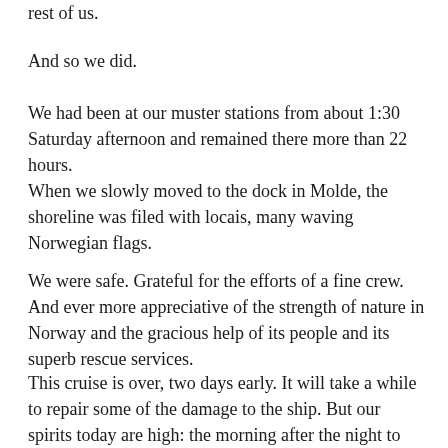rest of us.
And so we did.
We had been at our muster stations from about 1:30 Saturday afternoon and remained there more than 22 hours.
When we slowly moved to the dock in Molde, the shoreline was filed with locais, many waving Norwegian flags.
We were safe. Grateful for the efforts of a fine crew. And ever more appreciative of the strength of nature in Norway and the gracious help of its people and its superb rescue services.
This cruise is over, two days early. It will take a while to repair some of the damage to the ship. But our spirits today are high: the morning after the night to remember.